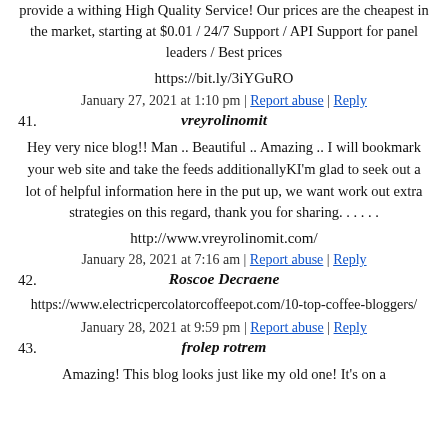provide a withing High Quality Service! Our prices are the cheapest in the market, starting at $0.01 / 24/7 Support / API Support for panel leaders / Best prices
https://bit.ly/3iYGuRO
January 27, 2021 at 1:10 pm | Report abuse | Reply
41. vreyrolinomit
Hey very nice blog!! Man .. Beautiful .. Amazing .. I will bookmark your web site and take the feeds additionallyKI'm glad to seek out a lot of helpful information here in the put up, we want work out extra strategies on this regard, thank you for sharing. . . . . .
http://www.vreyrolinomit.com/
January 28, 2021 at 7:16 am | Report abuse | Reply
42. Roscoe Decraene
https://www.electricpercolatorcoffeepot.com/10-top-coffee-bloggers/
January 28, 2021 at 9:59 pm | Report abuse | Reply
43. frolep rotrem
Amazing! This blog looks just like my old one! It's on a